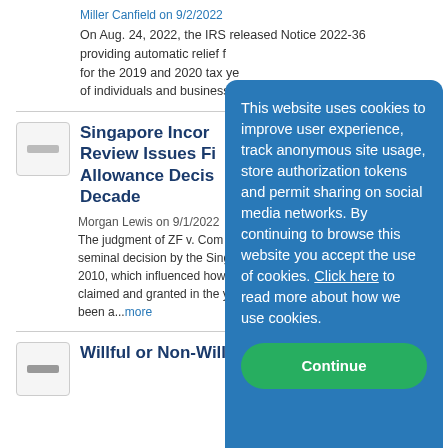Miller Canfield on 9/2/2022
On Aug. 24, 2022, the IRS released Notice 2022-36 providing automatic relief f... for the 2019 and 2020 tax ye... of individuals and businesses...
Singapore Inco... Review Issues Fi... Allowance Decis... Decade
Morgan Lewis on 9/1/2022
The judgment of ZF v. Com... seminal decision by the Sing... 2010, which influenced how... claimed and granted in the y... been a...more
Willful or Non-Willful? That Is...
This website uses cookies to improve user experience, track anonymous site usage, store authorization tokens and permit sharing on social media networks. By continuing to browse this website you accept the use of cookies. Click here to read more about how we use cookies.